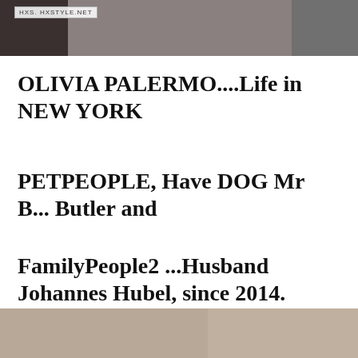[Figure (photo): Partial photo at top of page with watermark overlay reading 'HXS. HXSTYLE.NET']
OLIVIA PALERMO....Life in NEW YORK
PETPEOPLE, Have DOG Mr B... Butler and
FamilyPeople2 ...Husband Johannes Hubel, since 2014.
[Figure (photo): Two side-by-side photos of women at bottom of page, partially visible]